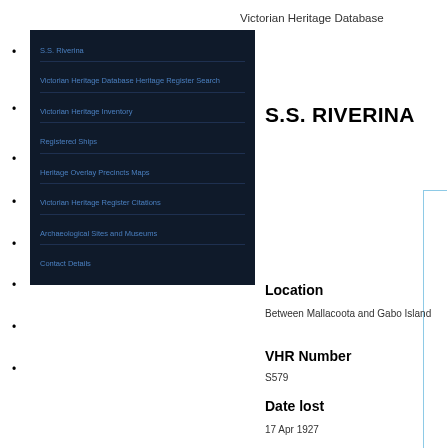Victorian Heritage Database
[Figure (screenshot): Navigation menu list with dark background showing multiple blue hyperlinks]
S.S. RIVERINA
Location
Between Mallacoota and Gabo Island
VHR Number
S579
Date lost
17 Apr 1927